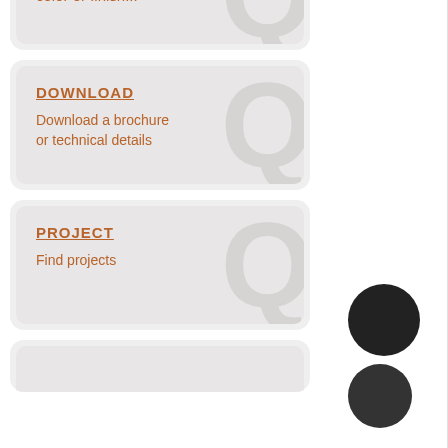Select the preferred color or finish...
DOWNLOAD
Download a brochure or technical details
PROJECT
Find projects
[Figure (illustration): Two dark circular dots on the right side of the page, used as navigation indicators]